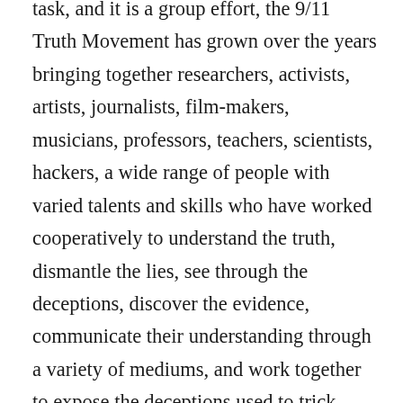task, and it is a group effort, the 9/11 Truth Movement has grown over the years bringing together researchers, activists, artists, journalists, film-makers, musicians, professors, teachers, scientists, hackers, a wide range of people with varied talents and skills who have worked cooperatively to understand the truth, dismantle the lies, see through the deceptions, discover the evidence, communicate their understanding through a variety of mediums, and work together to expose the deceptions used to trick people into supporting wars, to provide the vision of a post 9/11 Truth world, where war becomes a thing of the past, and precious human and natural resources